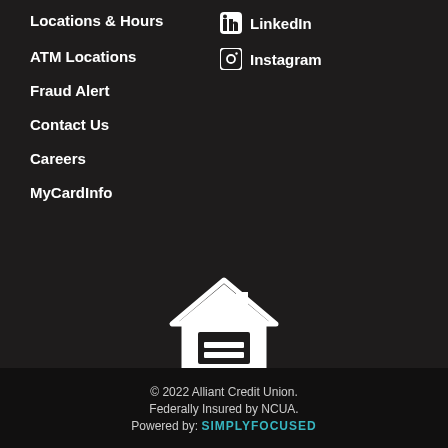Locations & Hours
ATM Locations
Fraud Alert
Contact Us
Careers
MyCardInfo
LinkedIn
Instagram
[Figure (logo): Equal Housing Opportunity logo — white house outline with an equals sign inside, with text EQUAL HOUSING OPPORTUNITY below]
Routing #: 273974633
NMLS #: 494670
© 2022 Alliant Credit Union. Federally Insured by NCUA. Powered by: SIMPLYFOCUSED